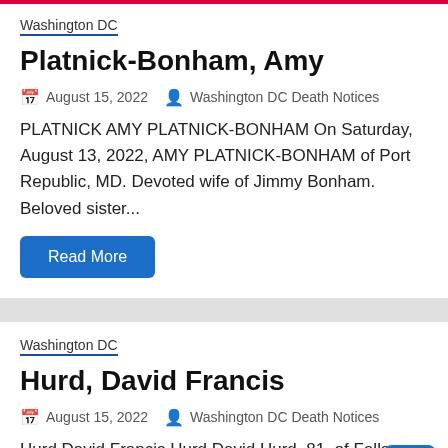Washington DC
Platnick-Bonham, Amy
August 15, 2022   Washington DC Death Notices
PLATNICK AMY PLATNICK-BONHAM On Saturday, August 13, 2022, AMY PLATNICK-BONHAM of Port Republic, MD. Devoted wife of Jimmy Bonham. Beloved sister...
Read More
Washington DC
Hurd, David Francis
August 15, 2022   Washington DC Death Notices
Hurd David Francis Hurd David Hurd, 81, of Falls Church